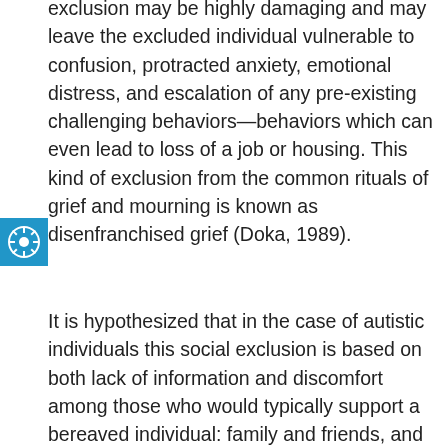exclusion may be highly damaging and may leave the excluded individual vulnerable to confusion, protracted anxiety, emotional distress, and escalation of any pre-existing challenging behaviors—behaviors which can even lead to loss of a job or housing. This kind of exclusion from the common rituals of grief and mourning is known as disenfranchised grief (Doka, 1989).

It is hypothesized that in the case of autistic individuals this social exclusion is based on both lack of information and discomfort among those who would typically support a bereaved individual: family and friends, and clergy and grief professionals. We believe that autistic individuals are likely excluded from the rituals of mourning, sometimes not even